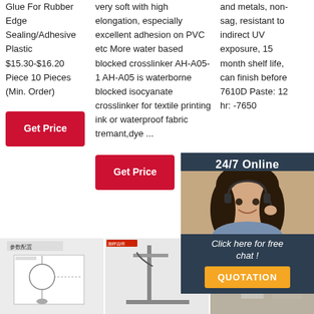Glue For Rubber Edge Sealing/Adhesive Plastic $15.30-$16.20 Piece 10 Pieces (Min. Order)
[Figure (other): Red 'Get Price' button in column 1]
very soft with high elongation, especially excellent adhesion on PVC etc More water based blocked crosslinker AH-A05-1 AH-A05 is waterborne blocked isocyanate crosslinker for textile printing ink or waterproof fabric tremant,dye ...
[Figure (other): Red 'Get Price' button in column 2]
and metals, non-sag, resistant to indirect UV exposure, 15 month shelf life, can finish before 7610D Paste: 12 hr: -7650
[Figure (other): Chat widget with '24/7 Online', woman with headset photo, 'Click here for free chat!', orange QUOTATION button]
[Figure (other): Red 'Get' price button in column 3]
[Figure (other): TOP arrow icon in red/orange at bottom right]
[Figure (photo): Thumbnail image 1: product specification diagram in Chinese]
[Figure (photo): Thumbnail image 2: laboratory equipment photo]
[Figure (photo): Thumbnail image 3: person using testing equipment]